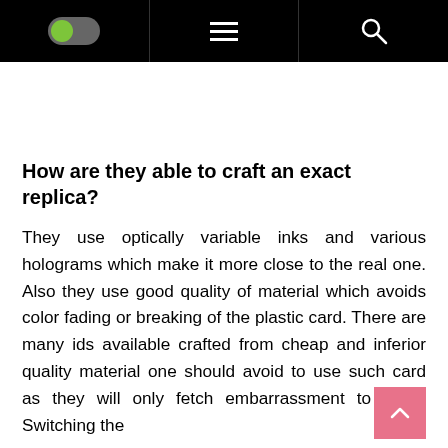[Navigation bar with toggle, hamburger menu, and search icon]
How are they able to craft an exact replica?
They use optically variable inks and various holograms which make it more close to the real one. Also they use good quality of material which avoids color fading or breaking of the plastic card. There are many ids available crafted from cheap and inferior quality material one should avoid to use such card as they will only fetch embarrassment to them. Switching the